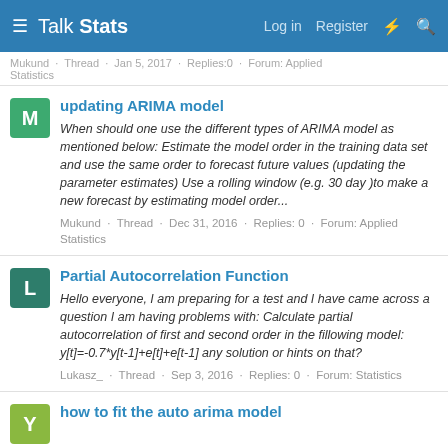Talk Stats — Log in · Register
Mukund · Thread · Jan 5, 2017 · Replies: 0 · Forum: Applied Statistics
updating ARIMA model
When should one use the different types of ARIMA model as mentioned below: Estimate the model order in the training data set and use the same order to forecast future values (updating the parameter estimates) Use a rolling window (e.g. 30 day )to make a new forecast by estimating model order...
Mukund · Thread · Dec 31, 2016 · Replies: 0 · Forum: Applied Statistics
Partial Autocorrelation Function
Hello everyone, I am preparing for a test and I have came across a question I am having problems with: Calculate partial autocorrelation of first and second order in the fillowing model: y[t]=-0.7*y[t-1]+e[t]+e[t-1] any solution or hints on that?
Lukasz_ · Thread · Sep 3, 2016 · Replies: 0 · Forum: Statistics
how to fit the auto arima model